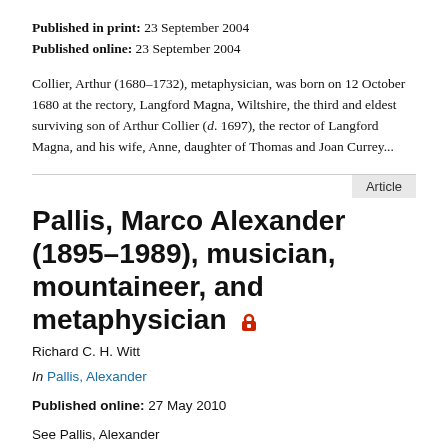Published in print: 23 September 2004
Published online: 23 September 2004
Collier, Arthur (1680–1732), metaphysician, was born on 12 October 1680 at the rectory, Langford Magna, Wiltshire, the third and eldest surviving son of Arthur Collier (d. 1697), the rector of Langford Magna, and his wife, Anne, daughter of Thomas and Joan Currey...
Article
Pallis, Marco Alexander (1895–1989), musician, mountaineer, and metaphysician
Richard C. H. Witt
In Pallis, Alexander
Published online: 27 May 2010
See Pallis, Alexander